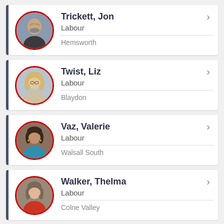[Figure (photo): Circular photo of Jon Trickett with red border]
Trickett, Jon
Labour
Hemsworth
[Figure (photo): Circular photo of Liz Twist with red border]
Twist, Liz
Labour
Blaydon
[Figure (photo): Circular photo of Valerie Vaz with red border]
Vaz, Valerie
Labour
Walsall South
[Figure (photo): Circular photo of Thelma Walker with red border]
Walker, Thelma
Labour
Colne Valley